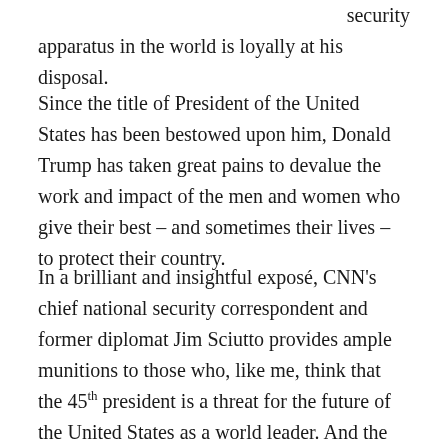security apparatus in the world is loyally at his disposal.
Since the title of President of the United States has been bestowed upon him, Donald Trump has taken great pains to devalue the work and impact of the men and women who give their best – and sometimes their lives – to protect their country.
In a brilliant and insightful exposé, CNN's chief national security correspondent and former diplomat Jim Sciutto provides ample munitions to those who, like me, think that the 45th president is a threat for the future of the United States as a world leader. And the title of his book, The Madman Theory: Trump Takes on the